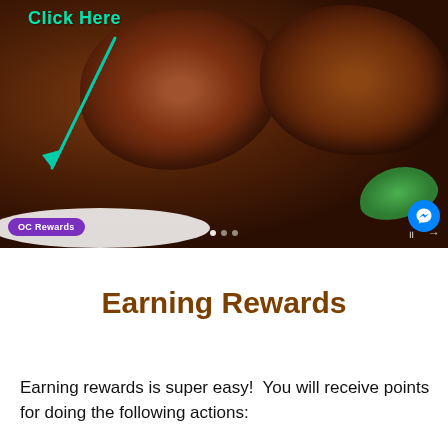[Figure (photo): A screenshot of a webpage showing grilled/barbecued meat (steak or ribs) on a white plate with green lettuce, overlaid with a teal 'Click Here' annotation and arrow, a purple 'OC Rewards' button, a blue Facebook Messenger icon, and slideshow navigation dots and arrows.]
Earning Rewards
Earning rewards is super easy!  You will receive points for doing the following actions: